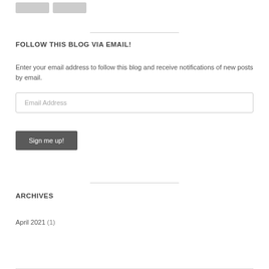[Figure (other): Two small gray image placeholders at top left]
FOLLOW THIS BLOG VIA EMAIL!
Enter your email address to follow this blog and receive notifications of new posts by email.
Email Address
Sign me up!
ARCHIVES
April 2021 (1)